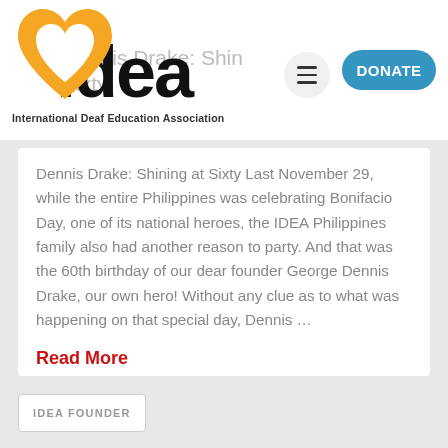[Figure (logo): IDEA (International Deaf Education Association) logo with orange heart and black IDEA wordmark]
Dennis Drake: Shining at Sixty | International Deaf Education Association — DONATE
Dennis Drake: Shining at Sixty Last November 29, while the entire Philippines was celebrating Bonifacio Day, one of its national heroes, the IDEA Philippines family also had another reason to party. And that was the 60th birthday of our dear founder George Dennis Drake, our own hero! Without any clue as to what was happening on that special day, Dennis ...
Read More
IDEA FOUNDER